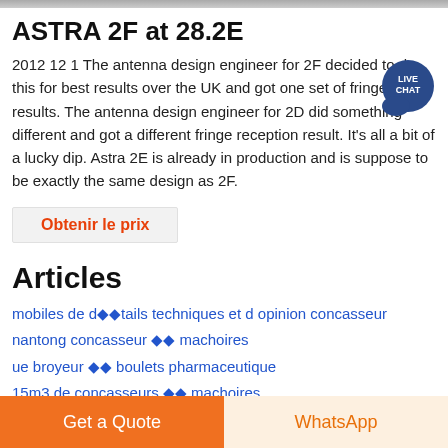[Figure (photo): Partial image strip at top of page]
ASTRA 2F at 28.2E
2012 12 1 The antenna design engineer for 2F decided to do this for best results over the UK and got one set of fringe results. The antenna design engineer for 2D did something different and got a different fringe reception result. It's all a bit of a lucky dip. Astra 2E is already in production and is suppose to be exactly the same design as 2F.
Obtenir le prix
Articles
mobiles de d◆◆tails techniques et d opinion concasseur
nantong concasseur ◆◆ machoires
ue broyeur ◆◆ boulets pharmaceutique
15m3 de concasseurs ◆◆ machoires
[Figure (other): Live Chat badge/bubble icon]
Get a Quote | WhatsApp